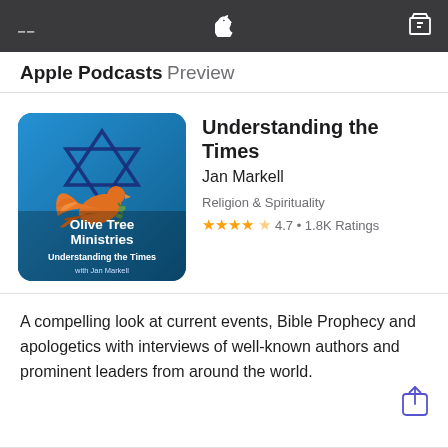Apple Podcasts Preview
[Figure (illustration): Olive Tree Ministries podcast artwork: blue background with Star of David outline and orange dove carrying olive branch. Text reads 'Olive Tree Ministries – Understanding the Times with Jan Markell']
Understanding the Times
Jan Markell
Religion & Spirituality
4.7 • 1.8K Ratings
A compelling look at current events, Bible Prophecy and apologetics with interviews of well-known authors and prominent leaders from around the world.